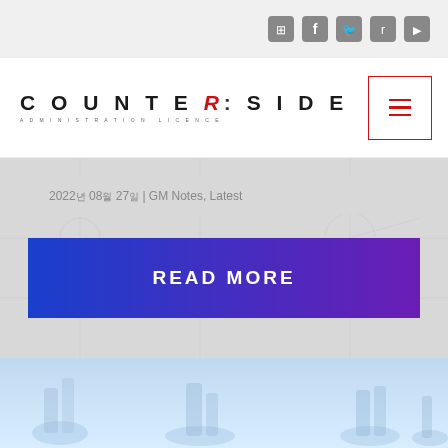Social icons: Discord, Facebook, Twitter, Reddit, YouTube
[Figure (logo): Counter:Side logo with subtitle 'ADMINISTRATION LICENCE' and hamburger menu button]
2022년 08월 27일 | GM Notes, Latest
READ MORE
[Figure (illustration): Light blue background with faint game character illustrations]